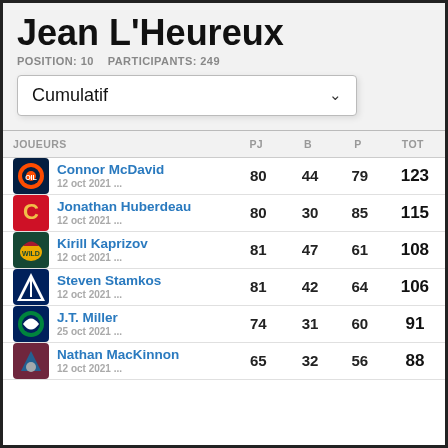Jean L'Heureux
POSITION: 10    PARTICIPANTS: 249
Cumulatif
| JOUEURS | PJ | B | P | TOT |
| --- | --- | --- | --- | --- |
| Connor McDavid 12 oct 2021 ... | 80 | 44 | 79 | 123 |
| Jonathan Huberdeau 12 oct 2021 ... | 80 | 30 | 85 | 115 |
| Kirill Kaprizov 12 oct 2021 ... | 81 | 47 | 61 | 108 |
| Steven Stamkos 12 oct 2021 ... | 81 | 42 | 64 | 106 |
| J.T. Miller 25 oct 2021 ... | 74 | 31 | 60 | 91 |
| Nathan MacKinnon 12 oct 2021 ... | 65 | 32 | 56 | 88 |